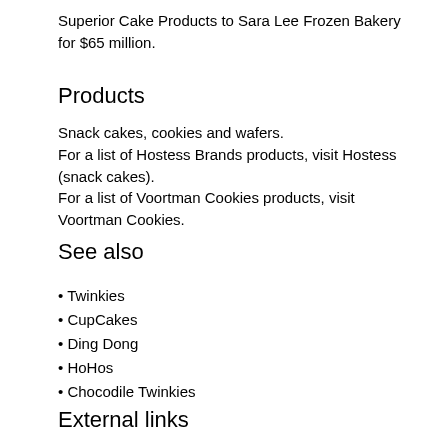Superior Cake Products to Sara Lee Frozen Bakery for $65 million.
Products
Snack cakes, cookies and wafers.
For a list of Hostess Brands products, visit Hostess (snack cakes).
For a list of Voortman Cookies products, visit Voortman Cookies.
See also
Twinkies
CupCakes
Ding Dong
HoHos
Chocodile Twinkies
External links
Official website
Overview